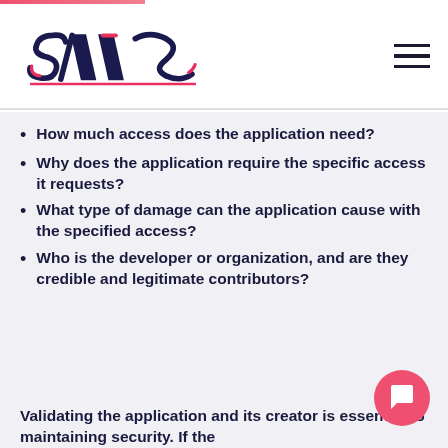[Figure (logo): SOOS company logo with stylized red and navy diagonal letterforms]
How much access does the application need?
Why does the application require the specific access it requests?
What type of damage can the application cause with the specified access?
Who is the developer or organization, and are they credible and legitimate contributors?
Validating the application and its creator is essential to maintaining security. If the